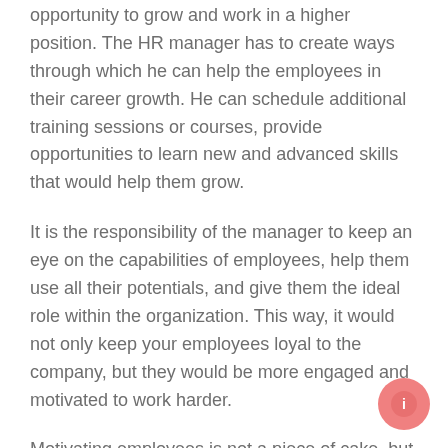opportunity to grow and work in a higher position. The HR manager has to create ways through which he can help the employees in their career growth. He can schedule additional training sessions or courses, provide opportunities to learn new and advanced skills that would help them grow.
It is the responsibility of the manager to keep an eye on the capabilities of employees, help them use all their potentials, and give them the ideal role within the organization. This way, it would not only keep your employees loyal to the company, but they would be more engaged and motivated to work harder.
Motivating employees is not a piece of cake, but HR managers have to take measures to keep a healthy environment in the organization. It is beneficial for both the organization and the employees.